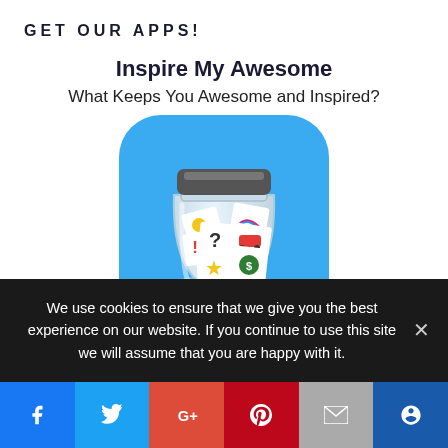GET OUR APPS!
Inspire My Awesome
What Keeps You Awesome and Inspired?
[Figure (illustration): App icon showing a glass jar with a dark metal lid on a blue rounded-square background. The jar contains small paper cards with icons: a sun, a rainbow, a question mark, an exclamation mark, a car, a star, and a green dollar coin.]
We use cookies to ensure that we give you the best experience on our website. If you continue to use this site we will assume that you are happy with it.